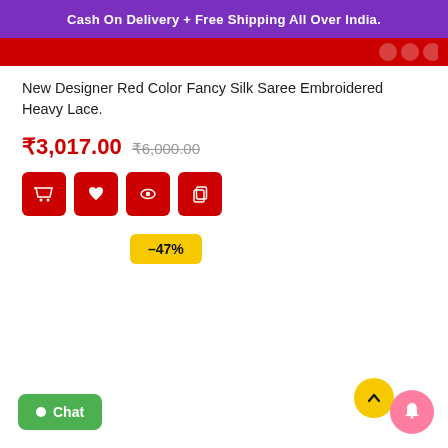Cash On Delivery + Free Shipping All Over India.
New Designer Red Color Fancy Silk Saree Embroidered Heavy Lace.
₹3,017.00  ₹6,000.00
–47%
Chat